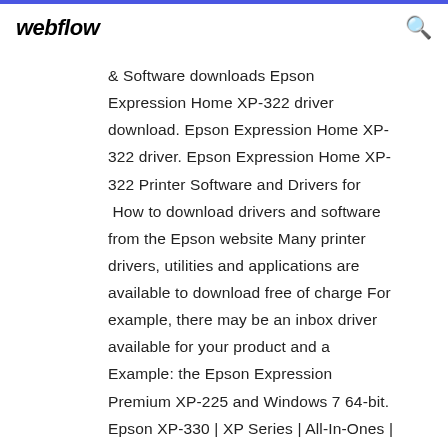webflow
& Software downloads Epson Expression Home XP-322 driver download. Epson Expression Home XP-322 driver. Epson Expression Home XP-322 Printer Software and Drivers for  How to download drivers and software from the Epson website Many printer drivers, utilities and applications are available to download free of charge For example, there may be an inbox driver available for your product and a Example: the Epson Expression Premium XP-225 and Windows 7 64-bit. Epson XP-330 | XP Series | All-In-Ones | Printers | Support ... Home Support Printers All-In-Ones XP Series Epson XP-330. Error While Adding. Learn more about an important security update for this product